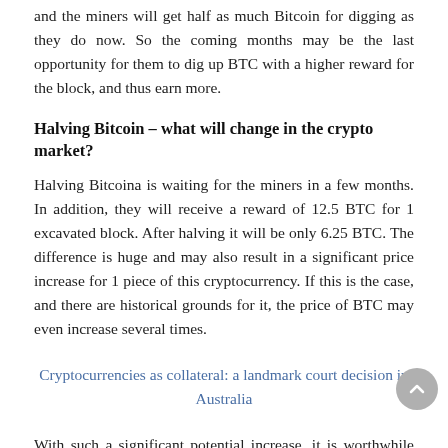and the miners will get half as much Bitcoin for digging as they do now. So the coming months may be the last opportunity for them to dig up BTC with a higher reward for the block, and thus earn more.
Halving Bitcoin – what will change in the crypto market?
Halving Bitcoina is waiting for the miners in a few months. In addition, they will receive a reward of 12.5 BTC for 1 excavated block. After halving it will be only 6.25 BTC. The difference is huge and may also result in a significant price increase for 1 piece of this cryptocurrency. If this is the case, and there are historical grounds for it, the price of BTC may even increase several times.
Cryptocurrencies as collateral: a landmark court decision in Australia
With such a significant potential increase, it is worthwhile for miners today to add to their business, which is digging, so that at the end of the year – assuming the price of BTC increases – they